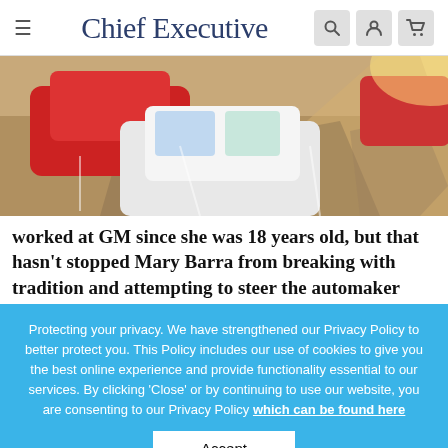Chief Executive
[Figure (photo): Aerial view of a car parking lot with multiple cars including a red car, a white car, and shadows cast on the asphalt. Sunlight rays visible.]
worked at GM since she was 18 years old, but that hasn't stopped Mary Barra from breaking with tradition and attempting to steer the automaker
Protecting your privacy. We have strengthened our Privacy Policy to better protect you. This Policy includes our use of cookies to give you the best online experience and provide functionality essential to our services. By clicking 'Close' or by continuing to use our website, you are consenting to our Privacy Policy which can be found here
Accept